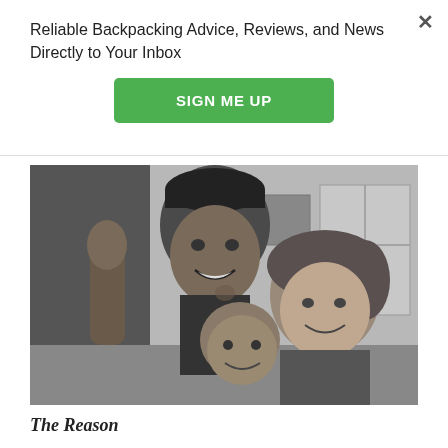Reliable Backpacking Advice, Reviews, and News Directly to Your Inbox
SIGN ME UP
[Figure (photo): Black and white selfie photo of three people smiling together indoors]
The Reason